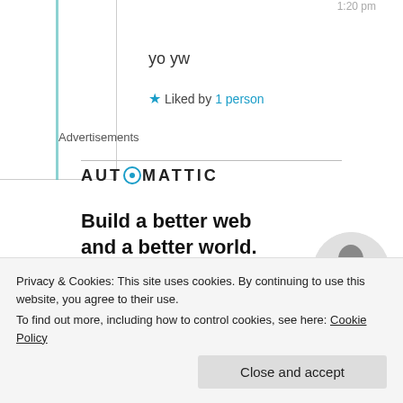1:20 pm
yo yw
★ Liked by 1 person
Advertisements
[Figure (logo): Automattic logo with circular O icon and text AUTOMATTIC in uppercase bold letters]
Build a better web and a better world.
[Figure (other): Blue Apply button and partial photo of a person in a gray circle]
Privacy & Cookies: This site uses cookies. By continuing to use this website, you agree to their use. To find out more, including how to control cookies, see here: Cookie Policy
Close and accept